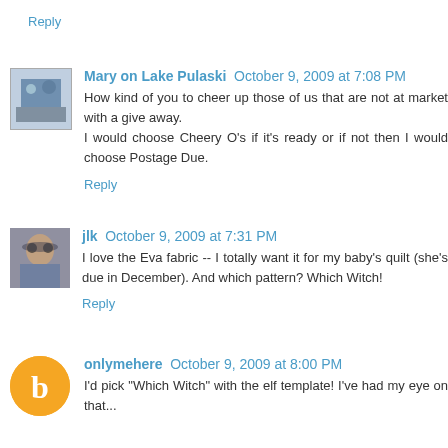Reply
Mary on Lake Pulaski  October 9, 2009 at 7:08 PM
How kind of you to cheer up those of us that are not at market with a give away.
I would choose Cheery O's if it's ready or if not then I would choose Postage Due.
Reply
jlk  October 9, 2009 at 7:31 PM
I love the Eva fabric -- I totally want it for my baby's quilt (she's due in December). And which pattern? Which Witch!
Reply
onlymehere  October 9, 2009 at 8:00 PM
I'd pick "Which Witch" with the elf template! I've had my eye on that...